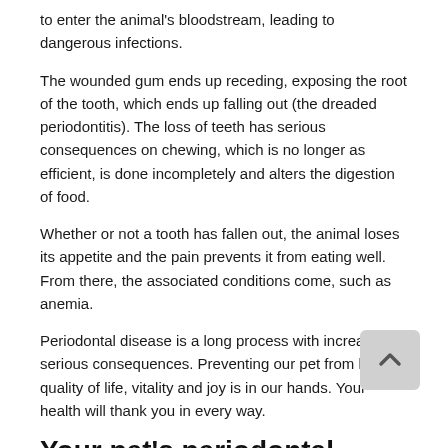to enter the animal's bloodstream, leading to dangerous infections.
The wounded gum ends up receding, exposing the root of the tooth, which ends up falling out (the dreaded periodontitis). The loss of teeth has serious consequences on chewing, which is no longer as efficient, is done incompletely and alters the digestion of food.
Whether or not a tooth has fallen out, the animal loses its appetite and the pain prevents it from eating well. From there, the associated conditions come, such as anemia.
Periodontal disease is a long process with increasingly serious consequences. Preventing our pet from losing quality of life, vitality and joy is in our hands. Your health will thank you in every way.
Your pet's periodontal